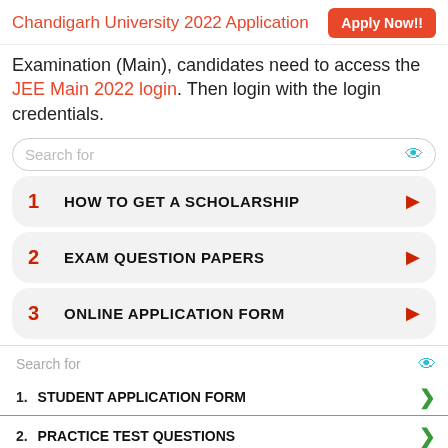Chandigarh University 2022 Application  Apply Now!!
Examination (Main), candidates need to access the JEE Main 2022 login. Then login with the login credentials.
Search for
1  HOW TO GET A SCHOLARSHIP
2  EXAM QUESTION PAPERS
3  ONLINE APPLICATION FORM
Search for
1.  STUDENT APPLICATION FORM
2.  PRACTICE TEST QUESTIONS